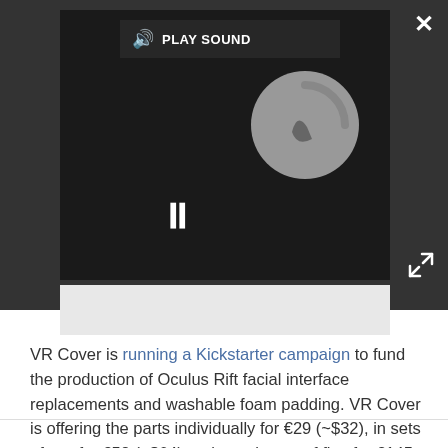[Figure (screenshot): Video player UI on dark background showing a loading/buffering spinner circle, pause button (two vertical bars), play sound button with speaker icon, close (X) button, and expand button. A gray bar is below the video player.]
VR Cover is running a Kickstarter campaign to fund the production of Oculus Rift facial interface replacements and washable foam padding. VR Cover is offering the parts individually for €29 (~$32), in sets of two for €58 (~$64), or in packages of five for €145 (~$160). Each option includes a foam pad of your choice. Orders are expected to ship to backers in September.